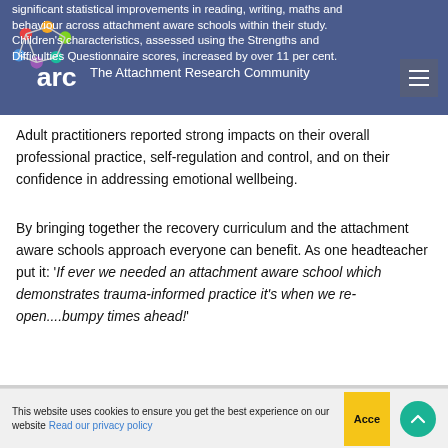arc – The Attachment Research Community
significant statistical improvements in reading, writing, maths and behaviour across attachment aware schools within their study. Children's characteristics, assessed using the Strengths and Difficulties Questionnaire scores, increased by over 11 per cent.
Adult practitioners reported strong impacts on their overall professional practice, self-regulation and control, and on their confidence in addressing emotional wellbeing.
By bringing together the recovery curriculum and the attachment aware schools approach everyone can benefit. As one headteacher put it: 'If ever we needed an attachment aware school which demonstrates trauma-informed practice it's when we re-open....bumpy times ahead!'
This website uses cookies to ensure you get the best experience on our website Read our privacy policy